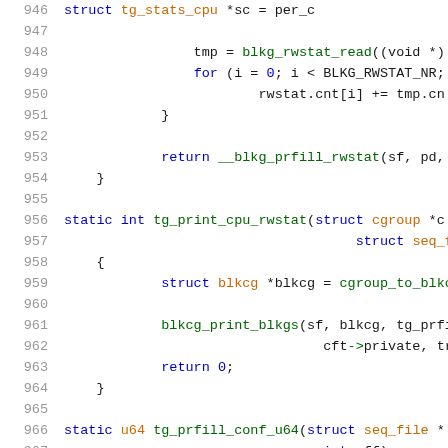[Figure (screenshot): Source code listing showing C kernel code lines 946-967, with syntax highlighting. Blue keywords (static, int, struct, return, for), green function names, orange/yellow types, and gray line numbers on white background.]